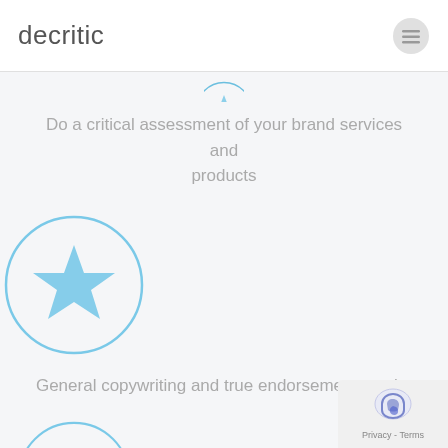decritic
[Figure (illustration): Partial circular icon visible at top center, cut off by page edge]
Do a critical assessment of your brand services and products
[Figure (illustration): Blue circular outlined icon containing a star shape, centered on page]
General copywriting and true endorsement on site
[Figure (illustration): Blue circular outlined icon containing a geometric gem/diamond shape, partially cut off at bottom]
[Figure (illustration): Privacy - Terms reCAPTCHA badge in bottom right corner]